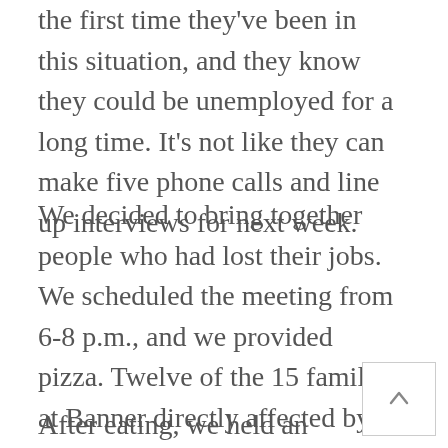the first time they've been in this situation, and they know they could be unemployed for a long time. It's not like they can make five phone calls and line up interviews for next week.
We decided to bring together people who had lost their jobs. We scheduled the meeting from 6-8 p.m., and we provided pizza. Twelve of the 15 families at Banner directly affected by layoffs or job cuts were represented–both husband and wife in some cases, just one spouse in others.
After eating, we held an informal